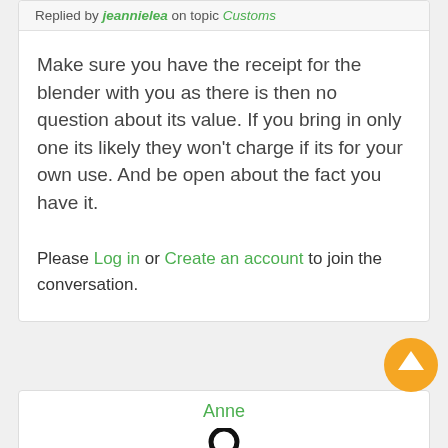Replied by jeannielea on topic Customs
Make sure you have the receipt for the blender with you as there is then no question about its value. If you bring in only one its likely they won't charge if its for your own use. And be open about the fact you have it.
Please Log in or Create an account to join the conversation.
Anne
[Figure (illustration): Generic user avatar icon (circle head and shoulders silhouette in black)]
[Figure (illustration): Orange circular scroll-to-top button with white upward arrow]